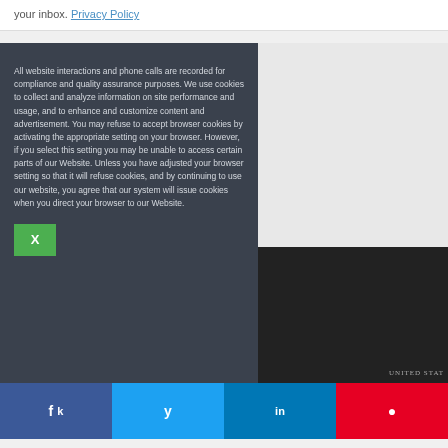your inbox. Privacy Policy
All website interactions and phone calls are recorded for compliance and quality assurance purposes. We use cookies to collect and analyze information on site performance and usage, and to enhance and customize content and advertisement. You may refuse to accept browser cookies by activating the appropriate setting on your browser. However, if you select this setting you may be unable to access certain parts of our Website. Unless you have adjusted your browser setting so that it will refuse cookies, and by continuing to use our website, you agree that our system will issue cookies when you direct your browser to our Website.
[Figure (photo): Close-up of US dollar bills in dark setting, showing text 'UNITED STATES']
X
f k
y
in
p